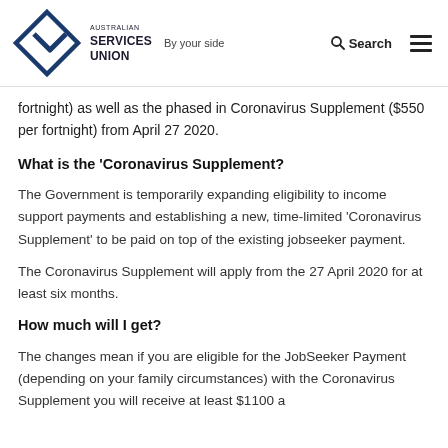Australian Services Union – By your side | Search
fortnight) as well as the phased in Coronavirus Supplement ($550 per fortnight) from April 27 2020.
What is the 'Coronavirus Supplement?
The Government is temporarily expanding eligibility to income support payments and establishing a new, time-limited 'Coronavirus Supplement' to be paid on top of the existing jobseeker payment.
The Coronavirus Supplement will apply from the 27 April 2020 for at least six months.
How much will I get?
The changes mean if you are eligible for the JobSeeker Payment (depending on your family circumstances) with the Coronavirus Supplement you will receive at least $1100 a